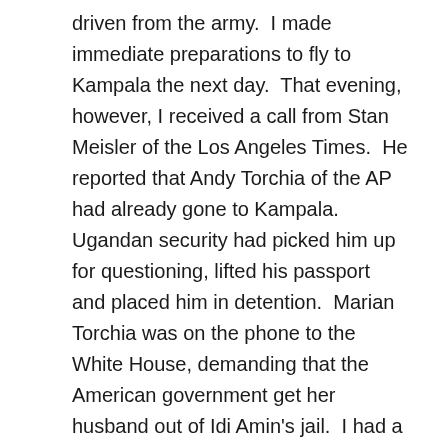driven from the army.  I made immediate preparations to fly to Kampala the next day.  That evening, however, I received a call from Stan Meisler of the Los Angeles Times.  He reported that Andy Torchia of the AP had already gone to Kampala.  Ugandan security had picked him up for questioning, lifted his passport and placed him in detention.  Marian Torchia was on the phone to the White House, demanding that the American government get her husband out of Idi Amin's jail.  I had a public telex conversation with the Monitor's assistant foreign news editor David Anable and cancelled the Uganda trip, hoping to cover developments from Nairobi.  I wrote a number of dispatches from there.  Andy Torchia was eventually released.
The invaders from Tanzania were quickly routed.